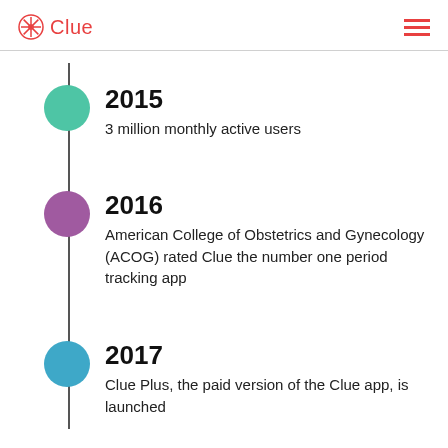Clue
2015 — 3 million monthly active users
2016 — American College of Obstetrics and Gynecology (ACOG) rated Clue the number one period tracking app
2017 — Clue Plus, the paid version of the Clue app, is launched